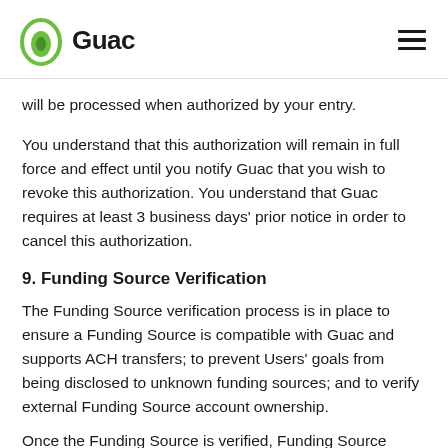Guac
will be processed when authorized by your entry.
You understand that this authorization will remain in full force and effect until you notify Guac that you wish to revoke this authorization. You understand that Guac requires at least 3 business days' prior notice in order to cancel this authorization.
9. Funding Source Verification
The Funding Source verification process is in place to ensure a Funding Source is compatible with Guac and supports ACH transfers; to prevent Users' goals from being disclosed to unknown funding sources; and to verify external Funding Source account ownership.
Once the Funding Source is verified, Funding Source